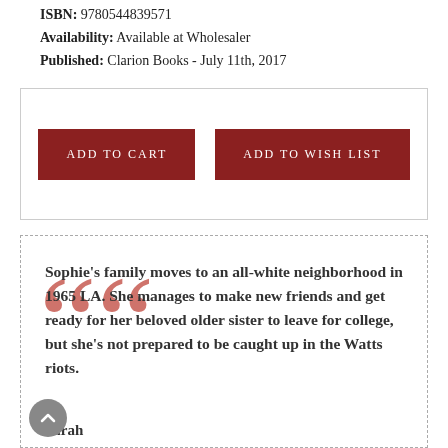ISBN: 9780544839571
Availability: Available at Wholesaler
Published: Clarion Books - July 11th, 2017
[Figure (other): Box with two buttons: ADD TO CART and ADD TO WISH LIST]
Sophie’s family moves to an all-white neighborhood in 1965 LA. She manages to make new friends and get ready for her beloved older sister to leave for college, but she’s not prepared to be caught up in the Watts riots.
Sarah